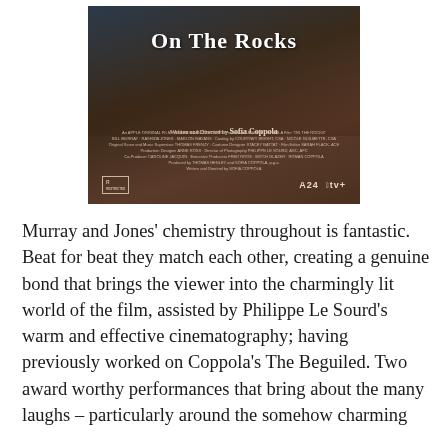[Figure (photo): Movie poster for 'On The Rocks', written and directed by Sofia Coppola. Shows two people seated at a table. White bold serif title text 'On The Rocks' at top. Credits and A24/Apple TV+ logos at bottom. Rated R.]
Murray and Jones' chemistry throughout is fantastic. Beat for beat they match each other, creating a genuine bond that brings the viewer into the charmingly lit world of the film, assisted by Philippe Le Sourd's warm and effective cinematography; having previously worked on Coppola's The Beguiled. Two award worthy performances that bring about the many laughs – particularly around the somehow charming